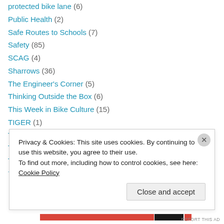protected bike lane (6)
Public Health (2)
Safe Routes to Schools (7)
Safety (85)
SCAG (4)
Sharrows (36)
The Engineer's Corner (5)
Thinking Outside the Box (6)
This Week in Bike Culture (15)
TIGER (1)
Tom LaBonge (18)
Traffic and Safety Review (2)
Travel (4)
TRUST South LA (1)
Privacy & Cookies: This site uses cookies. By continuing to use this website, you agree to their use.
To find out more, including how to control cookies, see here: Cookie Policy
Close and accept